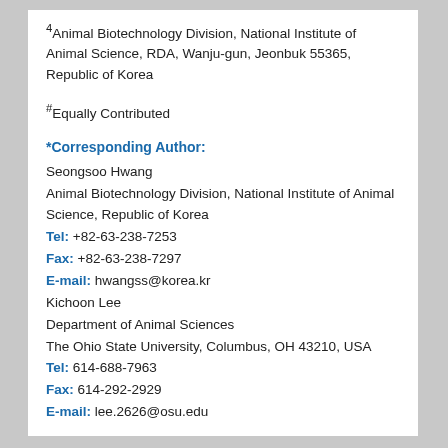4Animal Biotechnology Division, National Institute of Animal Science, RDA, Wanju-gun, Jeonbuk 55365, Republic of Korea
#Equally Contributed
*Corresponding Author:
Seongsoo Hwang
Animal Biotechnology Division, National Institute of Animal Science, Republic of Korea
Tel: +82-63-238-7253
Fax: +82-63-238-7297
E-mail: hwangss@korea.kr
Kichoon Lee
Department of Animal Sciences
The Ohio State University, Columbus, OH 43210, USA
Tel: 614-688-7963
Fax: 614-292-2929
E-mail: lee.2626@osu.edu